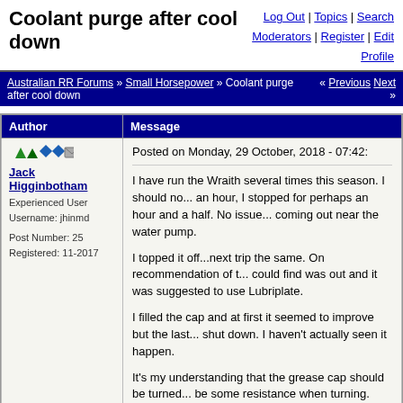Coolant purge after cool down
Log Out | Topics | Search Moderators | Register | Edit Profile
Australian RR Forums » Small Horsepower » Coolant purge after cool down « Previous Next »
| Author | Message |
| --- | --- |
| Jack Higginbotham
Experienced User
Username: jhinmd

Post Number: 25
Registered: 11-2017 | Posted on Monday, 29 October, 2018 - 07:42:

I have run the Wraith several times this season. I should no... an hour, I stopped for perhaps an hour and a half. No issue... coming out near the water pump.

I topped it off...next trip the same. On recommendation of t... could find was out and it was suggested to use Lubriplate.

I filled the cap and at first it seemed to improve but the last... shut down. I haven't actually seen it happen.

It's my understanding that the grease cap should be turned... be some resistance when turning. After the purging, the ca... pump.

I am thinking I should take the pump off and check the seal... opinions.

I read that the coolant should be visible at the fill. Is this wh... |